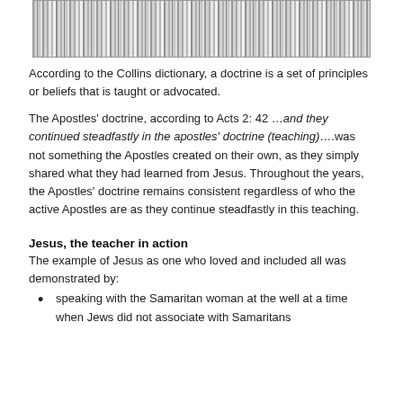[Figure (other): Grayscale striped barcode-like image at top of page]
According to the Collins dictionary, a doctrine is a set of principles or beliefs that is taught or advocated.
The Apostles' doctrine, according to Acts 2: 42 …and they continued steadfastly in the apostles' doctrine (teaching)….was not something the Apostles created on their own, as they simply shared what they had learned from Jesus. Throughout the years, the Apostles' doctrine remains consistent regardless of who the active Apostles are as they continue steadfastly in this teaching.
Jesus, the teacher in action
The example of Jesus as one who loved and included all was demonstrated by:
speaking with the Samaritan woman at the well at a time when Jews did not associate with Samaritans